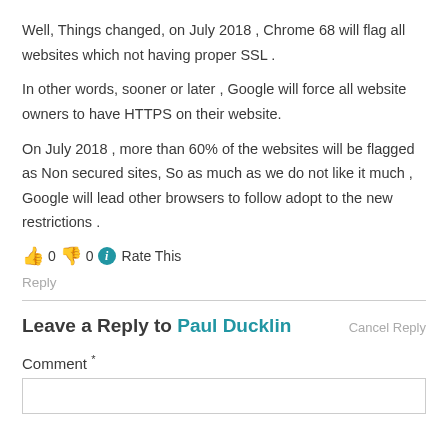Well, Things changed, on July 2018 , Chrome 68 will flag all websites which not having proper SSL .
In other words, sooner or later , Google will force all website owners to have HTTPS on their website.
On July 2018 , more than 60% of the websites will be flagged as Non secured sites, So as much as we do not like it much , Google will lead other browsers to follow adopt to the new restrictions .
👍 0 👎 0 ℹ Rate This
Reply
Leave a Reply to Paul Ducklin  Cancel Reply
Comment *